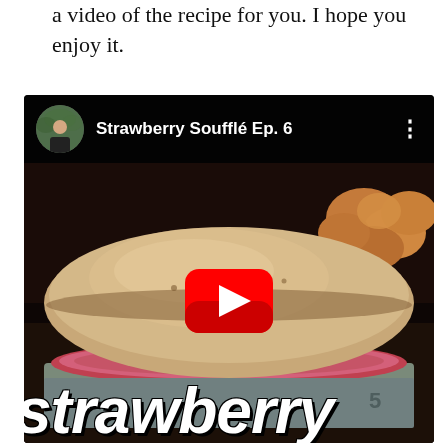a video of the recipe for you. I hope you enjoy it.
[Figure (screenshot): YouTube video embed showing 'Strawberry Soufflé Ep. 6' with a thumbnail of a strawberry soufflé rising out of a baking dish, eggs in the background, a red YouTube play button in the center, and large white italic text 'strawberry' at the bottom. The top bar shows a circular avatar of a man and the video title.]